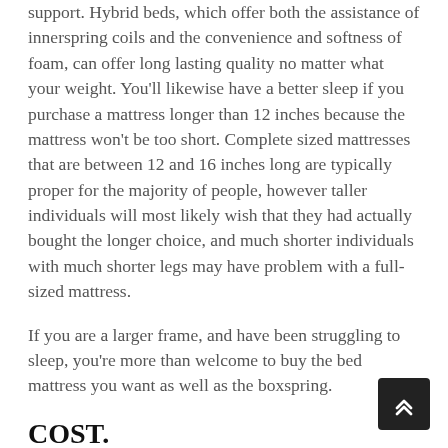support. Hybrid beds, which offer both the assistance of innerspring coils and the convenience and softness of foam, can offer long lasting quality no matter what your weight. You'll likewise have a better sleep if you purchase a mattress longer than 12 inches because the mattress won't be too short. Complete sized mattresses that are between 12 and 16 inches long are typically proper for the majority of people, however taller individuals will most likely wish that they had actually bought the longer choice, and much shorter individuals with much shorter legs may have problem with a full-sized mattress.
If you are a larger frame, and have been struggling to sleep, you're more than welcome to buy the bed mattress you want as well as the boxspring.
COST.